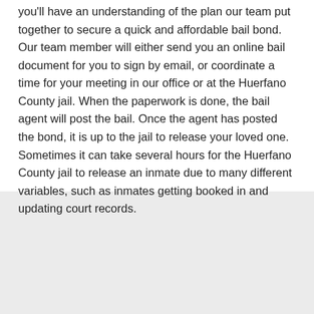you'll have an understanding of the plan our team put together to secure a quick and affordable bail bond. Our team member will either send you an online bail document for you to sign by email, or coordinate a time for your meeting in our office or at the Huerfano County jail. When the paperwork is done, the bail agent will post the bail. Once the agent has posted the bond, it is up to the jail to release your loved one. Sometimes it can take several hours for the Huerfano County jail to release an inmate due to many different variables, such as inmates getting booked in and updating court records.